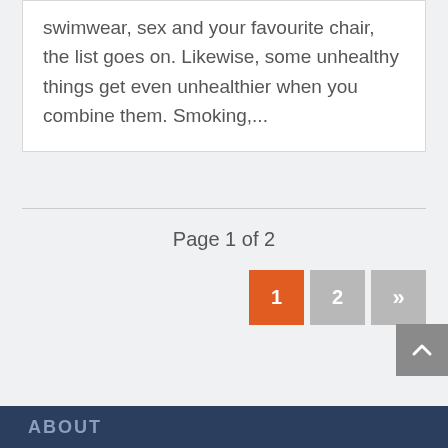swimwear, sex and your favourite chair, the list goes on. Likewise, some unhealthy things get even unhealthier when you combine them. Smoking,...
Page 1 of 2
ABOUT